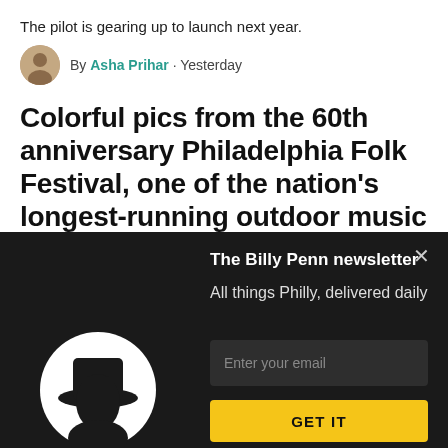The pilot is gearing up to launch next year.
By Asha Prihar · Yesterday
Colorful pics from the 60th anniversary Philadelphia Folk Festival, one of the nation's longest-running outdoor music fests
A community comes alive after two years of virtual-only
The Billy Penn newsletter
All things Philly, delivered daily
[Figure (logo): Billy Penn logo: white silhouette of a man with a hat in a white circle on dark background]
Enter your email
GET IT